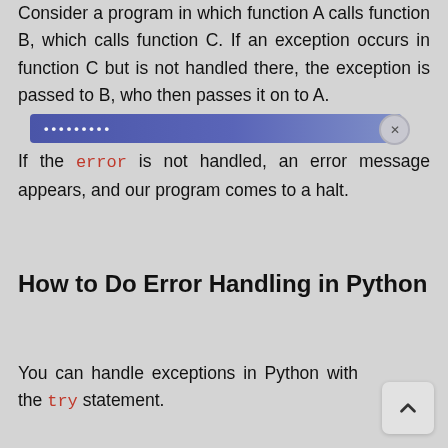Consider a program in which function A calls function B, which calls function C. If an exception occurs in function C but is not handled there, the exception is passed to B, who then passes it on to A.
[Figure (other): A highlighted blue bar UI element overlaid on the text, with a close button on the right side, partially obscuring content.]
If the error is not handled, an error message appears, and our program comes to a halt.
How to Do Error Handling in Python
You can handle exceptions in Python with the try statement.